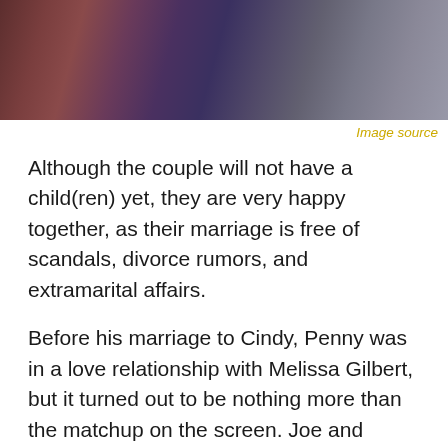[Figure (photo): Cropped photo showing two people, partially visible — one in a dark jacket and another in a suit with a patterned tie against a dark background]
Image source
Although the couple will not have a child(ren) yet, they are very happy together, as their marriage is free of scandals, divorce rumors, and extramarital affairs.
Before his marriage to Cindy, Penny was in a love relationship with Melissa Gilbert, but it turned out to be nothing more than the matchup on the screen. Joe and Melissa played only as a couple in the 1987 crime thriller – Blood Vows: The Story of a Mafia Wife.
Apart from Melissa, Kim Zimmer in The